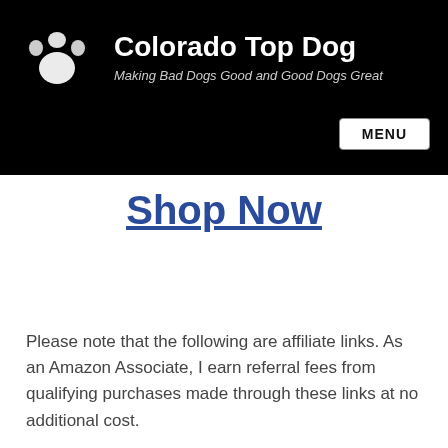Colorado Top Dog — Making Bad Dogs Good and Good Dogs Great
Shop Now
Please note that the following are affiliate links. As an Amazon Associate, I earn referral fees from qualifying purchases made through these links at no additional cost.